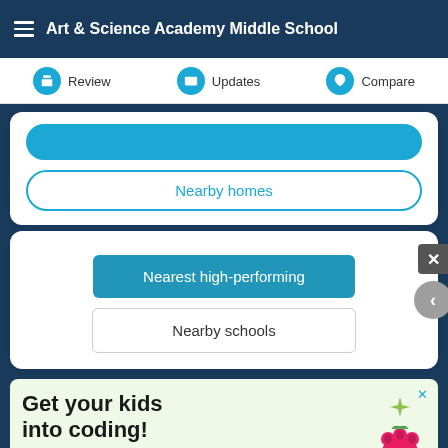Art & Science Academy Middle School
Review | Updates | Compare
Nearby homes
Nearest high-performing
Nearby schools
[Figure (screenshot): Advertisement banner with green background showing 'Get your kids into coding!' with raspberry pi logo and coding icons]
ADVERTISEMENT